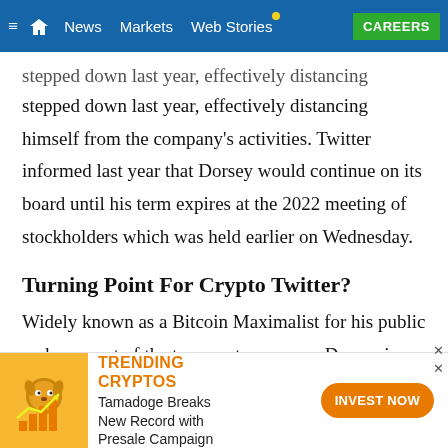≡ 🏠 News  Markets  Web Stories  CAREERS
stepped down last year, effectively distancing himself from the company's activities. Twitter informed last year that Dorsey would continue on its board until his term expires at the 2022 meeting of stockholders which was held earlier on Wednesday.
Turning Point For Crypto Twitter?
Widely known as a Bitcoin Maximalist for his public endorsement of the top cryptocurrency, Dorsey is among highly influential personalities in the industry. Dorsey's
[Figure (screenshot): Advertisement banner: TRENDING CRYPTOS - Tamadoge Breaks New Record with Presale Campaign - INVEST NOW button]